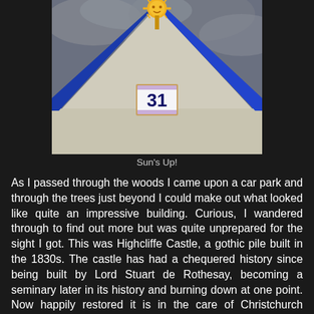[Figure (photo): A close-up photograph of a beach hut or chalet roof peak showing blue painted wooden trim forming a triangular gable. A decorative golden sun ornament sits at the apex. Below the peak is a ceramic house number tile showing '31' in blue against white background. The sky behind is overcast grey.]
Sun's Up!
As I passed through the woods I came upon a car park and through the trees just beyond I could make out what looked like quite an impressive building. Curious, I wandered through to find out more but was quite unprepared for the sight I got. This was Highcliffe Castle, a gothic pile built in the 1830s. The castle has had a chequered history since being built by Lord Stuart de Rothesay, becoming a seminary later in its history and burning down at one point. Now happily restored it is in the care of Christchurch Borough Council and I imagine is the jewel of their estate. The castle is licensed to hold weddings and I should imagine would be a very popular venue for that purpose. I took a